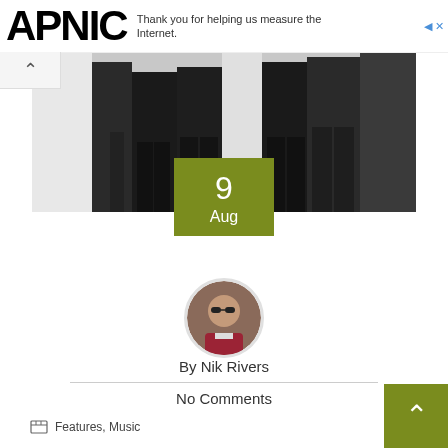APNIC — Thank you for helping us measure the Internet.
[Figure (photo): Black and white photo of a band/group of people from the waist down, wearing dark jeans and casual clothing]
9 Aug
[Figure (photo): Circular avatar photo of Nik Rivers wearing sunglasses]
By Nik Rivers
No Comments
Features, Music